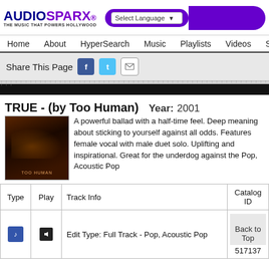AUDIOSPARX - THE MUSIC THAT POWERS HOLLYWOOD
[Figure (screenshot): AudioSparx logo with purple navigation bar showing Select Language dropdown]
Home  About  HyperSearch  Music  Playlists  Videos  Sound
Share This Page
TRUE - (by Too Human)  Year: 2001
A powerful ballad with a half-time feel. Deep meaning about sticking to yourself against all odds. Features female vocal with male duet solo. Uplifting and inspirational. Great for the underdog against the Pop, Acoustic Pop
| Type | Play | Track Info | Catalog ID |
| --- | --- | --- | --- |
| [music icon] | [speaker icon] | Edit Type: Full Track - Pop, Acoustic Pop | 517137 |
Back to Top